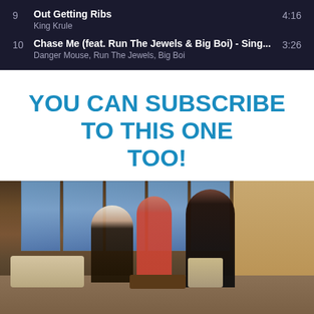| # | Title | Duration |
| --- | --- | --- |
| 9 | Out Getting Ribs — King Krule | 4:16 |
| 10 | Chase Me (feat. Run The Jewels & Big Boi) - Sing... — Danger Mouse, Run The Jewels, Big Boi | 3:26 |
YOU CAN SUBSCRIBE TO THIS ONE TOO!
[Figure (photo): Three people seated and standing on a TV talk show set with large windows showing a city skyline backdrop, wooden decor on the right wall. One person in a floral outfit, one in a red dress, one in a dark suit.]